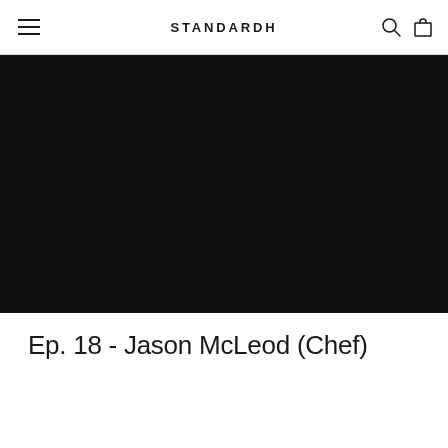STANDARDH
[Figure (photo): Large black/dark image banner area below the navigation header]
Ep. 18 - Jason McLeod (Chef)